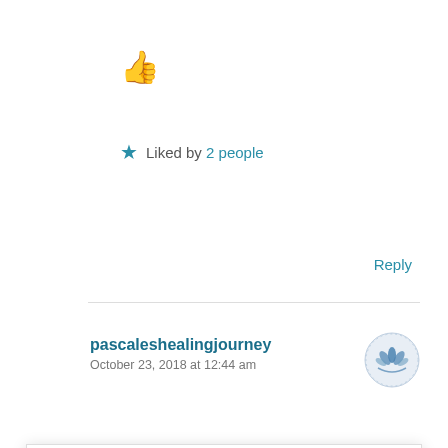[Figure (illustration): Thumbs up emoji icon in orange/skin tone color]
★ Liked by 2 people
Reply
pascaleshealingjourney
October 23, 2018 at 12:44 am
[Figure (logo): Circular logo with blue lotus/leaf design for pascaleshealingjourney]
Privacy & Cookies: This site uses cookies. By continuing to use this website, you agree to their use. To find out more, including how to control cookies, see here: Cookie Policy
Close and accept